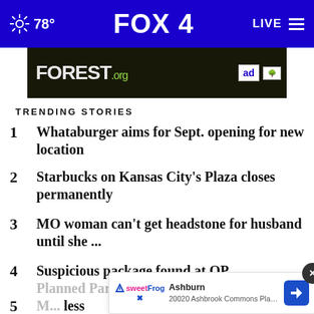78° FOX 4 LIVE
[Figure (screenshot): Advertisement banner for FOREST.org with ad council and forest service badges]
TRENDING STORIES
1 Whataburger aims for Sept. opening for new location
2 Starbucks on Kansas City's Plaza closes permanently
3 MO woman can't get headstone for husband until she ...
4 Suspicious package found at OP... Planned Parenthood
5 M... less camp in KC
[Figure (screenshot): Overlay ad showing Ashburn, 20020 Ashbrook Commons Plaza, Ste. with SweetFrog logo and navigation icon]